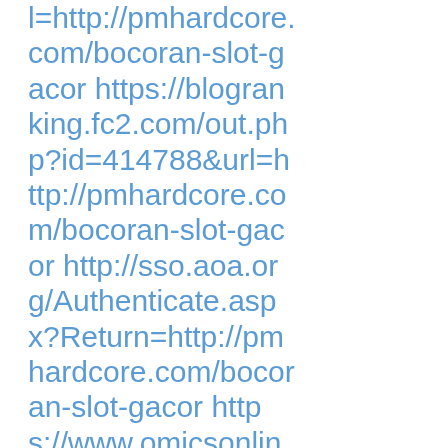l=http://pmhardcore.com/bocoran-slot-gacor https://blogranking.fc2.com/out.php?id=414788&url=http://pmhardcore.com/bocoran-slot-gacor http://sso.aoa.org/Authenticate.aspx?Return=http://pmhardcore.com/bocoran-slot-gacor https://www.omicsonline.org/recommend-to-librarian.php?title=Phobias|Anxietydisorder|Socialphobia|Agoraphobia&url=http://pmhardcore.com/bocoran-slot-gacor https://click.alamode.com/?adcode=CPEMAQM0913_1&url=hhttp://pmhardcore.com/bocoran-slot-gacor https://www.canada.com/scripts/go.aspx?g=vancouversun&n=subscri...